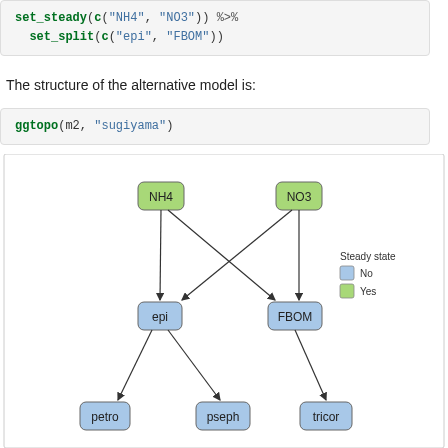set_steady(c("NH4", "NO3")) %>%
  set_split(c("epi", "FBOM"))
The structure of the alternative model is:
ggtopo(m2, "sugiyama")
[Figure (flowchart): DAG (directed acyclic graph) showing model structure. Green nodes (steady state=Yes): NH4, NO3. Blue nodes (steady state=No): epi, FBOM, petro, pseph, tricor. Edges: NH4->epi, NH4->FBOM, NO3->epi, NO3->FBOM (crossing), epi->petro, epi->pseph, FBOM->tricor. Legend: Steady state: No (blue), Yes (green).]